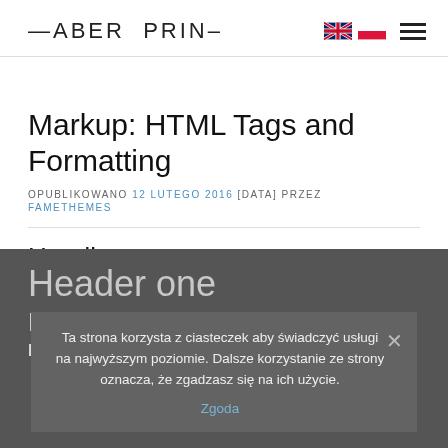FABER PRINT
Markup: HTML Tags and Formatting
OPUBLIKOWANO 12 LUTEGO 2016 [DATA] PRZEZ FAMETHEMES
Headings
Header one
Header two
Header three
Ta strona korzysta z ciasteczek aby świadczyć usługi na najwyższym poziomie. Dalsze korzystanie ze strony oznacza, że zgadzasz się na ich użycie. Zgoda